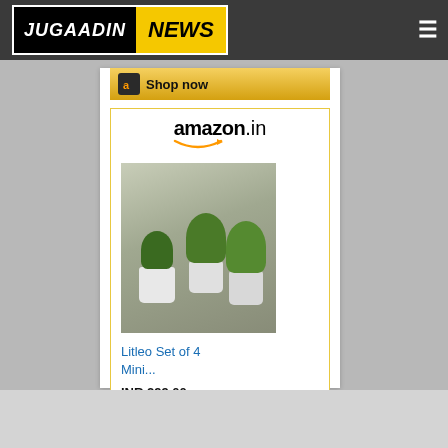JUGAADIN NEWS
[Figure (screenshot): Amazon.in product widget showing 'Litleo Set of 4 Mini...' priced at INR 299.00 with product image of mini plants in white pots, and a 'Shop now' button with Amazon logo]
amazon.in
Litleo Set of 4 Mini...
INR 299.00
Shop now